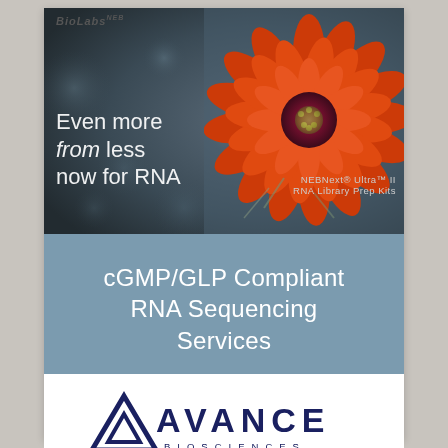[Figure (photo): Advertisement image showing an orange cactus flower on a dark background with overlaid text: 'Even more from less now for RNA' and product branding for BioLabs NEBNext Ultra II RNA library prep kits]
[Figure (infographic): Blue banner advertisement reading 'cGMP/GLP Compliant RNA Sequencing Services' with the Avance Biosciences logo below on a white background]